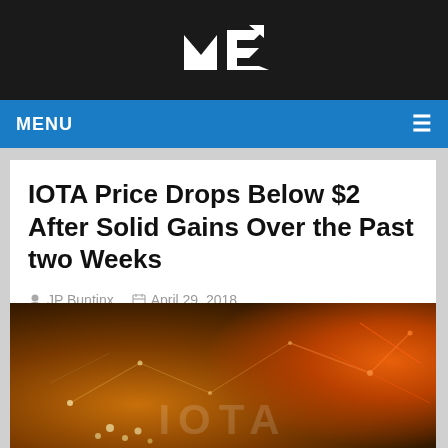ME (logo)
MENU ≡
IOTA Price Drops Below $2 After Solid Gains Over the Past two Weeks
JP Buntinx   April 29, 2018
[Figure (photo): IOTA branded network map image showing glowing connection lines over a world map with orange/red hues and IOTA text at the bottom]